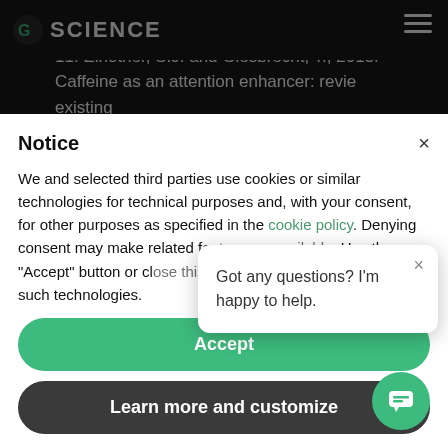G SCIENCE
caffeine. Nutrition Reviews, 44, pp.61-70.
11. Einöther, S.J. and Giesbrecht, T., 2013. Caffeine as an attention enhancer: reviewing existing assumptions. Psychopharmacology, 225(2), pp.251-274.
Notice
We and selected third parties use cookies or similar technologies for technical purposes and, with your consent, for other purposes as specified in the cookie policy. Denying consent may make related features unavailable. Use the "Accept" button or close this notice to consent to the use of such technologies.
Got any questions? I'm happy to help.